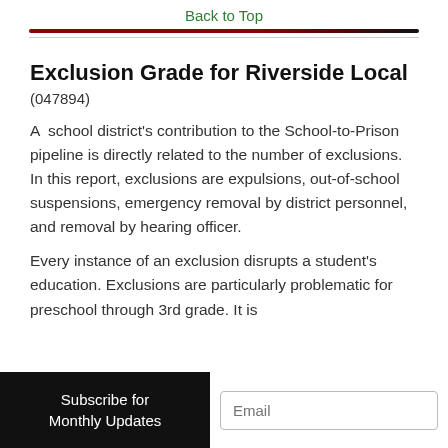Back to Top
Exclusion Grade for Riverside Local
(047894)
A school district's contribution to the School-to-Prison pipeline is directly related to the number of exclusions. In this report, exclusions are expulsions, out-of-school suspensions, emergency removal by district personnel, and removal by hearing officer.
Every instance of an exclusion disrupts a student's education. Exclusions are particularly problematic for preschool through 3rd grade. It is
Subscribe for Monthly Updates  |  Email